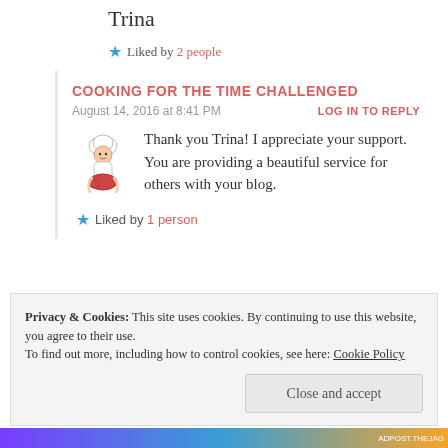Trina
Liked by 2 people
COOKING FOR THE TIME CHALLENGED
August 14, 2016 at 8:41 PM
LOG IN TO REPLY
Thank you Trina! I appreciate your support. You are providing a beautiful service for others with your blog.
Liked by 1 person
Privacy & Cookies: This site uses cookies. By continuing to use this website, you agree to their use.
To find out more, including how to control cookies, see here: Cookie Policy
Close and accept